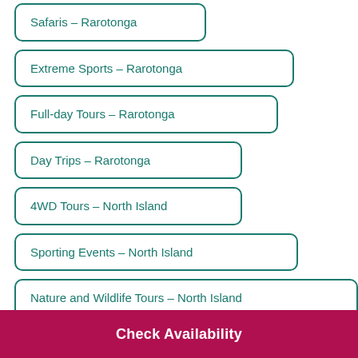Safaris - Rarotonga
Extreme Sports - Rarotonga
Full-day Tours - Rarotonga
Day Trips - Rarotonga
4WD Tours - North Island
Sporting Events - North Island
Nature and Wildlife Tours - North Island
(partially visible item)
Check Availability